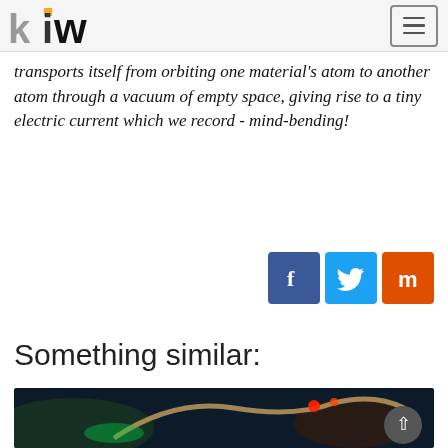kiw [logo with menu button]
transports itself from orbiting one material’s atom to another atom through a vacuum of empty space, giving rise to a tiny electric current which we record - mind-bending!
[Figure (infographic): Social share buttons: Facebook (blue), Twitter (light blue), Mix (orange-red)]
Something similar:
[Figure (photo): A glowing curved strip or ring with red and green lights against a dark background, likely an LED strip or photonic device]